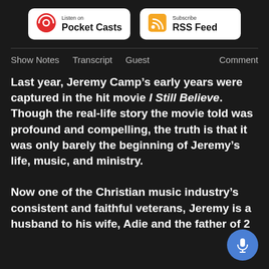[Figure (logo): Listen on Pocket Casts badge with red circular icon]
[Figure (logo): Subscribe RSS Feed badge with orange RSS icon]
Show Notes   Transcript   Guest   Comment
Last year, Jeremy Camp’s early years were captured in the hit movie I Still Believe. Though the real-life story the movie told was profound and compelling, the truth is that it was only barely the beginning of Jeremy’s life, music, and ministry.
Now one of the Christian music industry’s consistent and faithful veterans, Jeremy is a husband to his wife, Adie and the father of 2